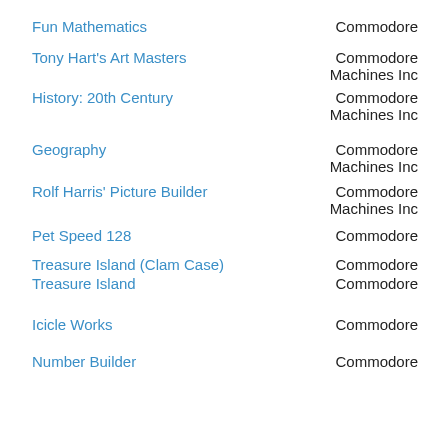Fun Mathematics | Commodore
Tony Hart's Art Masters | Commodore Machines Inc
History: 20th Century | Commodore Machines Inc
Geography | Commodore Machines Inc
Rolf Harris' Picture Builder | Commodore Machines Inc
Pet Speed 128 | Commodore
Treasure Island (Clam Case) | Commodore
Treasure Island | Commodore
Icicle Works | Commodore
Number Builder | Commodore